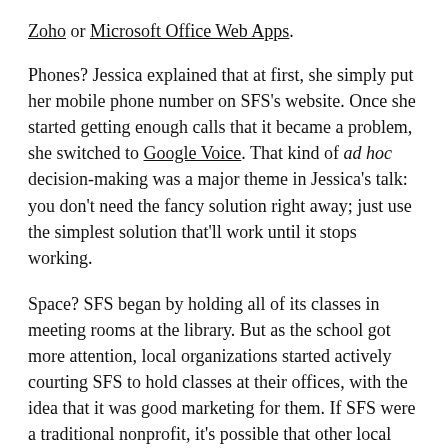Zoho or Microsoft Office Web Apps.
Phones? Jessica explained that at first, she simply put her mobile phone number on SFS's website. Once she started getting enough calls that it became a problem, she switched to Google Voice. That kind of ad hoc decision-making was a major theme in Jessica's talk: you don't need the fancy solution right away; just use the simplest solution that'll work until it stops working.
Space? SFS began by holding all of its classes in meeting rooms at the library. But as the school got more attention, local organizations started actively courting SFS to hold classes at their offices, with the idea that it was good marketing for them. If SFS were a traditional nonprofit, it's possible that other local organizations with their own budgetary woes wouldn't have been so generous.